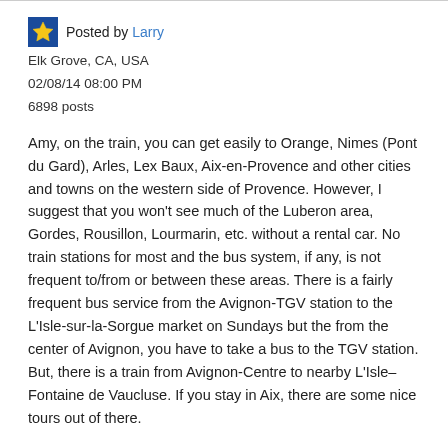Posted by Larry
Elk Grove, CA, USA
02/08/14 08:00 PM
6898 posts
Amy, on the train, you can get easily to Orange, Nimes (Pont du Gard), Arles, Lex Baux, Aix-en-Provence and other cities and towns on the western side of Provence. However, I suggest that you won't see much of the Luberon area, Gordes, Rousillon, Lourmarin, etc. without a rental car. No train stations for most and the bus system, if any, is not frequent to/from or between these areas. There is a fairly frequent bus service from the Avignon-TGV station to the L'Isle-sur-la-Sorgue market on Sundays but the from the center of Avignon, you have to take a bus to the TGV station. But, there is a train from Avignon-Centre to nearby L'Isle–Fontaine de Vaucluse. If you stay in Aix, there are some nice tours out of there.